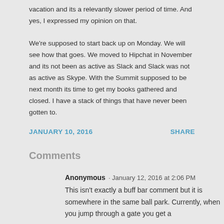vacation and its a relevantly slower period of time. And yes, I expressed my opinion on that.
We're supposed to start back up on Monday. We will see how that goes. We moved to Hipchat in November and its not been as active as Slack and Slack was not as active as Skype. With the Summit supposed to be next month its time to get my books gathered and closed. I have a stack of things that have never been gotten to.
JANUARY 10, 2016
SHARE
Comments
Anonymous · January 12, 2016 at 2:06 PM
This isn't exactly a buff bar comment but it is somewhere in the same ball park. Currently, when you jump through a gate you get a